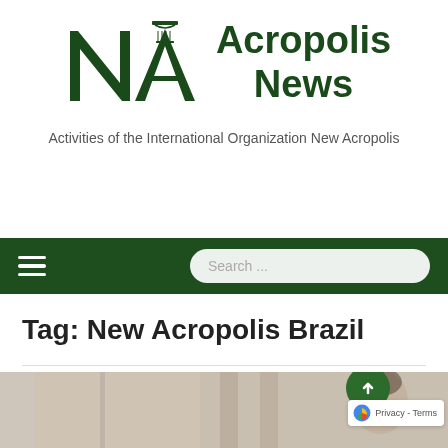[Figure (logo): New Acropolis logo — stylized NA letters in dark green with a classical column icon]
Acropolis News
Activities of the International Organization New Acropolis
[Figure (screenshot): Dark green navigation bar with hamburger menu icon on the left and a rounded search input field on the right showing placeholder text 'Search ...']
Tag: New Acropolis Brazil
[Figure (photo): Partial view of a photo showing people, cut off at the bottom of the page. A back-to-top button and reCAPTCHA badge are overlaid in the bottom-right corner.]